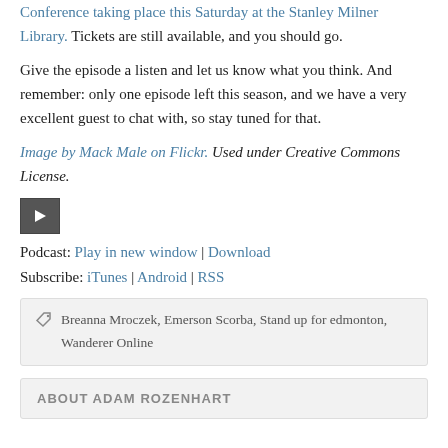Conference taking place this Saturday at the Stanley Milner Library. Tickets are still available, and you should go.
Give the episode a listen and let us know what you think. And remember: only one episode left this season, and we have a very excellent guest to chat with, so stay tuned for that.
Image by Mack Male on Flickr. Used under Creative Commons License.
[Figure (other): Audio play button icon]
Podcast: Play in new window | Download
Subscribe: iTunes | Android | RSS
Breanna Mroczek, Emerson Scorba, Stand up for edmonton, Wanderer Online
ABOUT ADAM ROZENHART